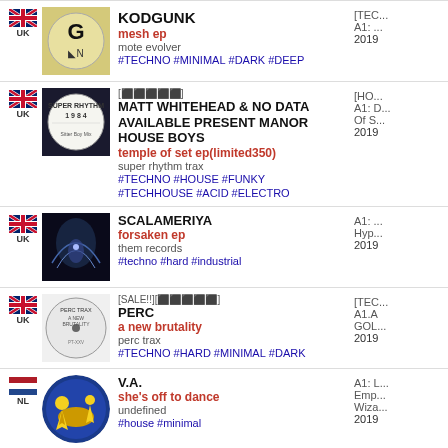KODGUNK / mesh ep / mote evolver / #TECHNO #MINIMAL #DARK #DEEP / A1: ... 2019
[badge] MATT WHITEHEAD & NO DATA AVAILABLE PRESENT MANOR HOUSE BOYS / temple of set ep(limited350) / super rhythm trax / #TECHNO #HOUSE #FUNKY #TECHHOUSE #ACID #ELECTRO / [HO... A1: D... Of S... 2019
SCALAMERIYA / forsaken ep / them records / #techno #hard #industrial / A1: Hyp... 2019
[SALE!!][badge] PERC / a new brutality / perc trax / #TECHNO #HARD #MINIMAL #DARK / [TEC... A1.A GOL... 2019
V.A. / she's off to dance / undefined / #house #minimal / A1: L... Emp... Wiza... 2019
[badge] MISS KITTIN / 1993 eacid / zone / #TECHNO #HOUSE #ACID #ELECTRO / [HO... A1: ... 2019